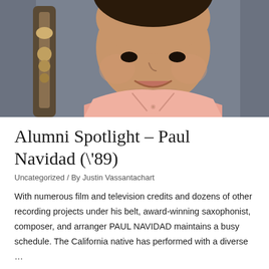[Figure (photo): Headshot of Paul Navidad, a man in a pink polo shirt smiling, with a saxophone or brass instrument visible to his left, against a dark gray background. Photo is cropped to show face, neck, and upper chest.]
Alumni Spotlight – Paul Navidad (\'89)
Uncategorized / By Justin Vassantachart
With numerous film and television credits and dozens of other recording projects under his belt, award-winning saxophonist, composer, and arranger PAUL NAVIDAD maintains a busy schedule. The California native has performed with a diverse …